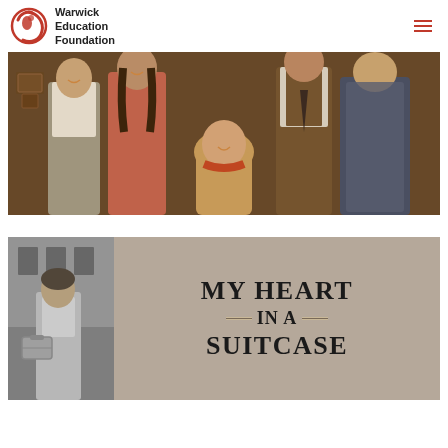Warwick Education Foundation
[Figure (photo): Group photo of five young people in period costumes on a stage set, with an elderly woman seated in the center. The young people are wearing early 20th century clothing. Luggage/suitcases are visible in the background.]
[Figure (photo): Promotional banner for 'My Heart in a Suitcase'. Left side shows a black and white photo of a young girl holding a suitcase. Right side shows the title text 'MY HEART IN A SUITCASE' on a taupe/beige background with decorative lines around 'IN A'.]